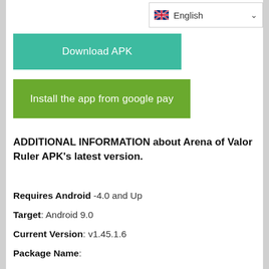[Figure (screenshot): Language selector dropdown showing UK flag and 'English' with chevron]
[Figure (screenshot): Teal 'Download APK' button]
[Figure (screenshot): Green 'Install the app from google pay' button]
ADDITIONAL INFORMATION about Arena of Valor Ruler APK's latest version.
Requires Android -4.0 and Up
Target: Android 9.0
Current Version: v1.45.1.6
Package Name:
Rating – 4+
Price Free